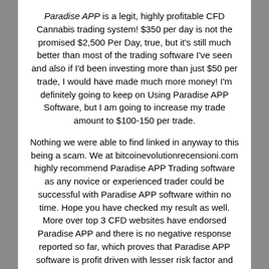Paradise APP is a legit, highly profitable CFD Cannabis trading system! $350 per day is not the promised $2,500 Per Day, true, but it's still much better than most of the trading software I've seen and also if I'd been investing more than just $50 per trade, I would have made much more money! I'm definitely going to keep on Using Paradise APP Software, but I am going to increase my trade amount to $100-150 per trade.
Nothing we were able to find linked in anyway to this being a scam. We at bitcoinevolutionrecensioni.com highly recommend Paradise APP Trading software as any novice or experienced trader could be successful with Paradise APP software within no time. Hope you have checked my result as well. More over top 3 CFD websites have endorsed Paradise APP and there is no negative response reported so far, which proves that Paradise APP software is profit driven with lesser risk factor and